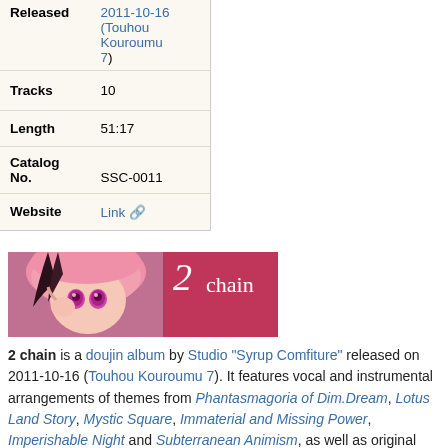| Field | Value |
| --- | --- |
| Released | 2011-10-16 (Touhou Kouroumu 7) |
| Tracks | 10 |
| Length | 51:17 |
| Catalog No. | SSC-0011 |
| Website | Link |
[Figure (illustration): Banner image for '2 chain' album showing an anime character with pink hair and eyes on the left side, and a crimson/dark pink background on the right with '2 chain' text in white serif font.]
2 chain is a doujin album by Studio "Syrup Comfiture" released on 2011-10-16 (Touhou Kouroumu 7). It features vocal and instrumental arrangements of themes from Phantasmagoria of Dim.Dream, Lotus Land Story, Mystic Square, Immaterial and Missing Power, Imperishable Night and Subterranean Animism, as well as original compositions.
The character in the cover art is Rin Kaenbyou.